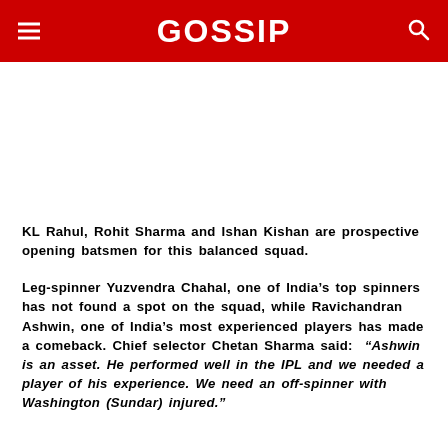GOSSIP
KL Rahul, Rohit Sharma and Ishan Kishan are prospective opening batsmen for this balanced squad.
Leg-spinner Yuzvendra Chahal, one of India's top spinners has not found a spot on the squad, while Ravichandran Ashwin, one of India's most experienced players has made a comeback. Chief selector Chetan Sharma said: “Ashwin is an asset. He performed well in the IPL and we needed a player of his experience. We need an off-spinner with Washington (Sundar) injured.”